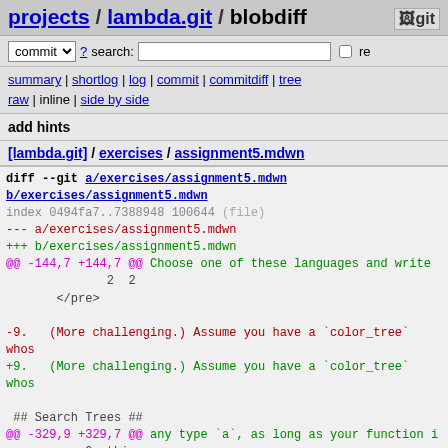projects / lambda.git / blobdiff  git
commit ? search:  re
summary | shortlog | log | commit | commitdiff | tree
raw | inline | side by side
add hints
[lambda.git] / exercises / assignment5.mdwn
diff --git a/exercises/assignment5.mdwn b/exercises/assignment5.mdwn
index 0494fa7..7388948 100644 (file)
--- a/exercises/assignment5.mdwn
+++ b/exercises/assignment5.mdwn
@@ -144,7 +144,7 @@ Choose one of these languages and write
                2   2
        </pre>

-9.   (More challenging.) Assume you have a `color_tree` whos
+9.   (More challenging.) Assume you have a `color_tree` whos

 ## Search Trees ##
@@ -329,9 +329,7 @@ any type `a`, as long as your function i
        -- Or this:
        let sysf_true = (\y n -> y) :: Sysf_bool a